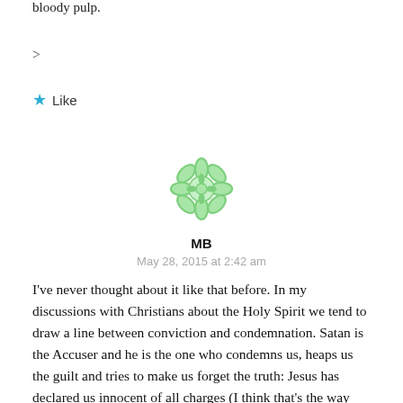bloody pulp.
>
★ Like
[Figure (illustration): Green decorative mandala/snowflake avatar icon for user MB]
MB
May 28, 2015 at 2:42 am
I've never thought about it like that before. In my discussions with Christians about the Holy Spirit we tend to draw a line between conviction and condemnation. Satan is the Accuser and he is the one who condemns us, heaps us the guilt and tries to make us forget the truth: Jesus has declared us innocent of all charges (I think that's the way you phrased it 🙂 ). We tend to say that the